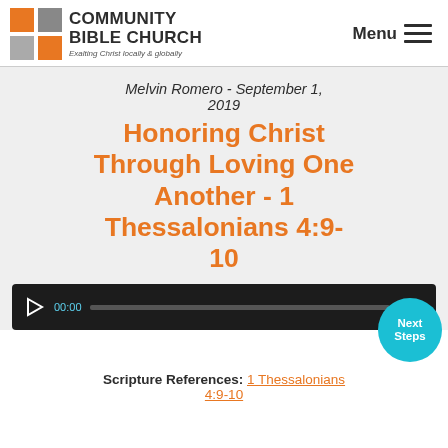[Figure (logo): Community Bible Church logo with orange and gray square grid icon and text 'COMMUNITY BIBLE CHURCH' with tagline 'Exalting Christ locally & globally']
Melvin Romero - September 1, 2019
Honoring Christ Through Loving One Another - 1 Thessalonians 4:9-10
[Figure (screenshot): Audio player bar with play button, time 00:00, progress bar, and end time 00:00 on dark background]
Scripture References: 1 Thessalonians 4:9-10